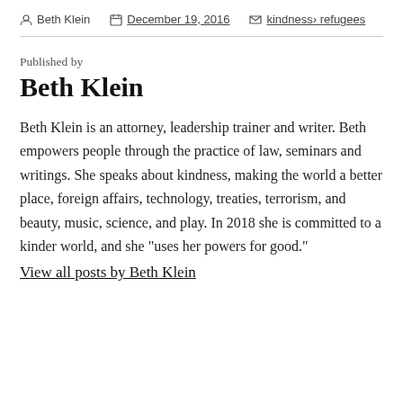Beth Klein  December 19, 2016  kindness, refugees
Published by
Beth Klein
Beth Klein is an attorney, leadership trainer and writer. Beth empowers people through the practice of law, seminars and writings. She speaks about kindness, making the world a better place, foreign affairs, technology, treaties, terrorism, and beauty, music, science, and play. In 2018 she is committed to a kinder world, and she "uses her powers for good."
View all posts by Beth Klein